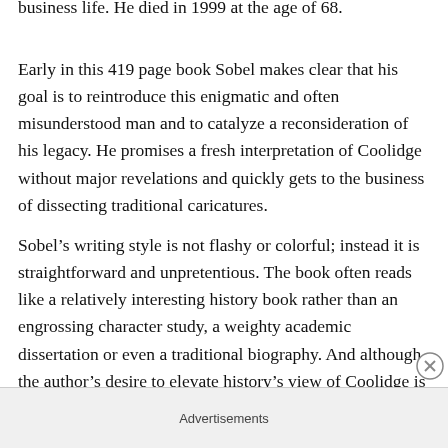business life. He died in 1999 at the age of 68.
Early in this 419 page book Sobel makes clear that his goal is to reintroduce this enigmatic and often misunderstood man and to catalyze a reconsideration of his legacy. He promises a fresh interpretation of Coolidge without major revelations and quickly gets to the business of dissecting traditional caricatures.
Sobel’s writing style is not flashy or colorful; instead it is straightforward and unpretentious. The book often reads like a relatively interesting history book rather than an engrossing character study, a weighty academic dissertation or even a traditional biography. And although the author’s desire to elevate history’s view of Coolidge is
Advertisements